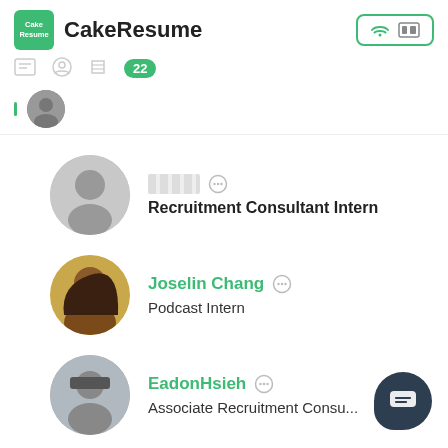CakeResume
22
Recruitment Consultant Intern
Joselin Chang — Podcast Intern
EadonHsieh — Associate Recruitment Consu...